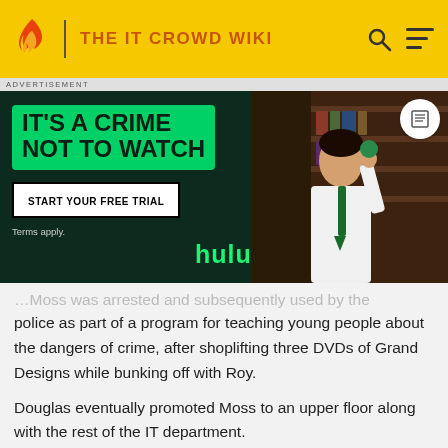THE IT CROWD WIKI
[Figure (screenshot): Hulu advertisement banner with dark green background. Left side shows green box with bold text 'IT'S A CRIME NOT TO WATCH', a white 'START YOUR FREE TRIAL' button, 'Terms apply.' text, and 'hulu' in green text. Right side shows a young man in white shirt and green tie holding something up, with bookshelves in background.]
…Moss was arrested and subsequently used by the police as part of a program for teaching young people about the dangers of crime, after shoplifting three DVDs of Grand Designs while bunking off with Roy.
Douglas eventually promoted Moss to an upper floor along with the rest of the IT department.
Characteristics